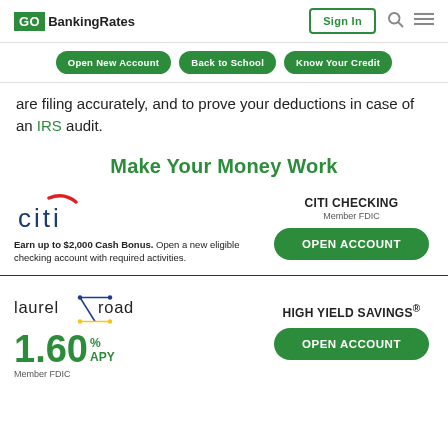GOBankingRates | Sign In
Open New Account | Back to School | Know Your Credit
are filing accurately, and to prove your deductions in case of an IRS audit.
Make Your Money Work
[Figure (infographic): Citi bank advertisement: Citi logo, CITI CHECKING Member FDIC, Earn up to $2,000 Cash Bonus. Open a new eligible checking account with required activities. OPEN ACCOUNT button.]
[Figure (infographic): Laurel Road advertisement: Laurel Road logo, 1.60% APY, Member FDIC, HIGH YIELD SAVINGS® OPEN ACCOUNT button.]